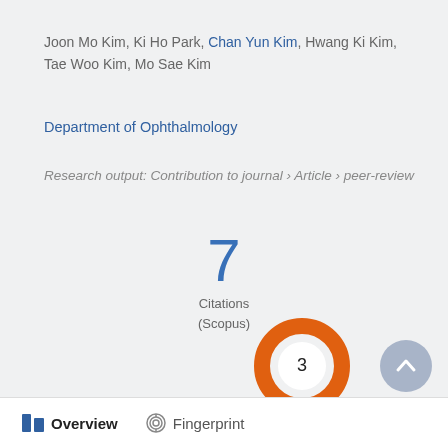Joon Mo Kim, Ki Ho Park, Chan Yun Kim, Hwang Ki Kim, Tae Woo Kim, Mo Sae Kim
Department of Ophthalmology
Research output: Contribution to journal › Article › peer-review
[Figure (infographic): Citation count: 7 Citations (Scopus)]
[Figure (donut-chart): Orange donut chart with number 3 in center]
Overview  Fingerprint